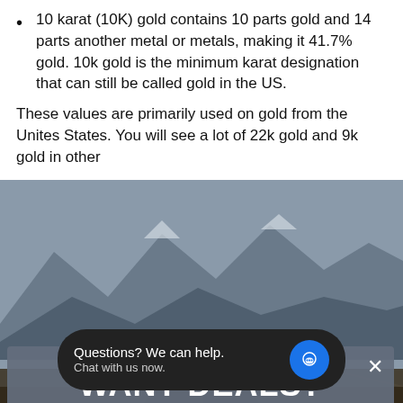10 karat (10K) gold contains 10 parts gold and 14 parts another metal or metals, making it 41.7% gold. 10k gold is the minimum karat designation that can still be called gold in the US.
These values are primarily used on gold from the Unites States. You will see a lot of 22k gold and 9k gold in other
[Figure (screenshot): Modal popup overlay on a mountain/road background image. Contains 'WANT DEALS?' heading, subscription text 'SUBSCRIBE TO OUR INSIDER EMAIL LIST FOR UP TO 30% OFF YOUR NEXT PURCHASE.', an email input field, a yellow submit button, a close (X) button, and a black chat widget at the bottom saying 'Questions? We can help. Chat with us now.' with a blue chat bubble icon.]